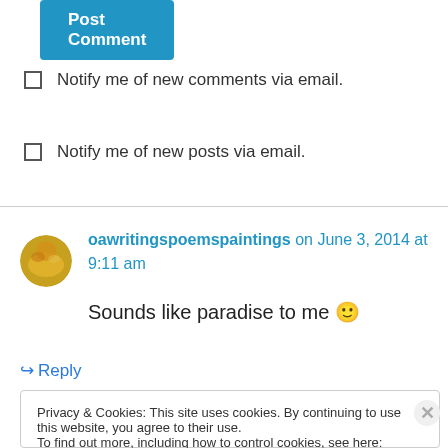[Figure (other): Blue 'Post Comment' button partially visible at top]
Notify me of new comments via email.
Notify me of new posts via email.
oawritingspoemspaintings on June 3, 2014 at 9:11 am
Sounds like paradise to me 🙂
↪ Reply
Privacy & Cookies: This site uses cookies. By continuing to use this website, you agree to their use.
To find out more, including how to control cookies, see here: Cookie Policy
Close and accept